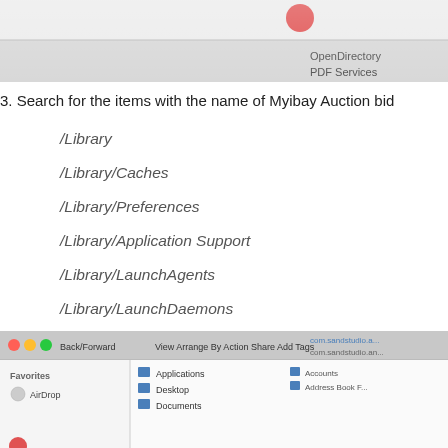[Figure (screenshot): Partial screenshot of a macOS Finder toolbar with red, yellow, green window control buttons and menu items including OpenDirectory and PDF Services]
3. Search for the items with the name of Myibay Auction bid
/Library
/Library/Caches
/Library/Preferences
/Library/Application Support
/Library/LaunchAgents
/Library/LaunchDaemons
/Library/PreferencePanes
/Library/StartupItems
[Figure (screenshot): Partial screenshot of macOS Finder window showing sidebar with Favorites including AirDrop, and file listings for Applications, Desktop, Documents with subfolders]